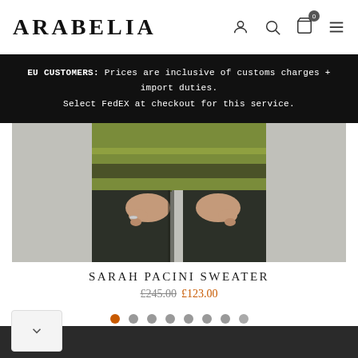ARABELIA
EU CUSTOMERS: Prices are inclusive of customs charges + import duties. Select FedEX at checkout for this service.
[Figure (photo): Product photo showing a person wearing a green/olive striped Sarah Pacini sweater with dark wide-leg trousers, cropped at torso level]
SARAH PACINI SWEATER
£245.00 £123.00